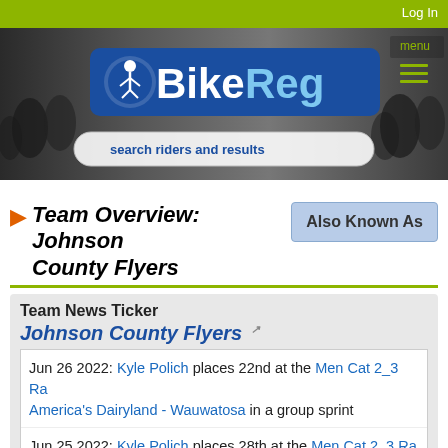Log In
[Figure (logo): BikeReg logo with cyclist icon on blue background, with search bar 'search riders and results' overlaid on a cycling race photo banner]
Team Overview: Johnson County Flyers
Also Known As
Team News Ticker
Johnson County Flyers
Jun 26 2022: Kyle Polich places 22nd at the Men Cat 2_3 Ra... America's Dairyland - Wauwatosa in a group sprint
Jun 25 2022: Kyle Polich places 28th at the Men Cat 2_3 Ra... America's Dairyland - Downer Ave. in a field sprint
Jun 24 2022: Kyle Polich places 26th at the Men Cat 2_3 Ra...